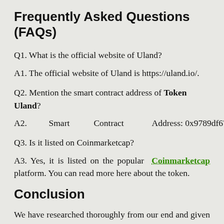Frequently Asked Questions (FAQs)
Q1. What is the official website of Uland?
A1. The official website of Uland is https://uland.io/.
Q2. Mention the smart contract address of Token Uland?
A2. Smart Contract Address: 0x9789df6753b7f813a1c55ed20ecf83571dfde428
Q3. Is it listed on Coinmarketcap?
A3. Yes, it is listed on the popular Coinmarketcap platform. You can read more here about the token.
Conclusion
We have researched thoroughly from our end and given helpful information about the coin here, including its